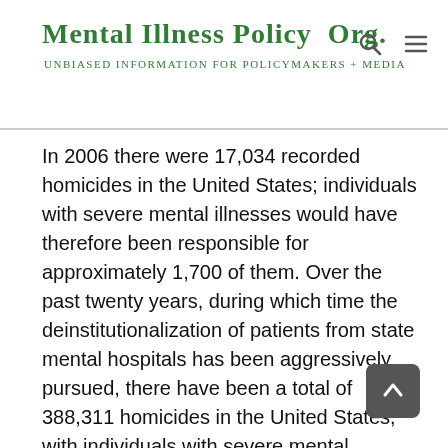Mental Illness Policy Org. — Unbiased information for policymakers + Media
In 2006 there were 17,034 recorded homicides in the United States; individuals with severe mental illnesses would have therefore been responsible for approximately 1,700 of them. Over the past twenty years, during which time the deinstitutionalization of patients from state mental hospitals has been aggressively pursued, there have been a total of 388,311 homicides in the United States, with individuals with severe mental illnesses thus responsible for approximately 38,000 of them.
In commenting on the recent study, TAC founder and board member E. Fuller Torrey, M.D., commented: "These numbers are alarming, especially when it is realized that most of these homicides could have been prevented if adequate treatment had been implemented. The public thinks that most homicides are associated with substance abuse. They